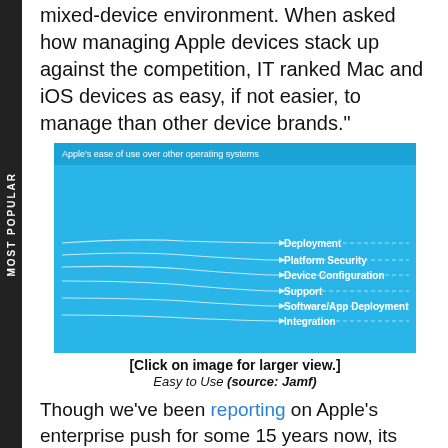mixed-device environment. When asked how managing Apple devices stack up against the competition, IT ranked Mac and iOS devices as easy, if not easier, to manage than other device brands."
[Figure (infographic): Infographic titled 'Apple's ease of use over other operating systems' on a blue background. Shows a flow diagram with curved lines leading to six categories: Deployment, Platform Security, Device Configuration, Support, Software/App Deployment, Integration. Text explains IT admins confirmed Apple is as easy, if not easier, to manage on six critical tasks.]
[Click on image for larger view.]
Easy to Use (source: Jamf)
Though we've been reporting on Apple's enterprise push for some 15 years now, its efforts have ramped up of late. The company's best friend in this effort is IBM, especially when it comes to mobile and Apple's young Swift programming language.